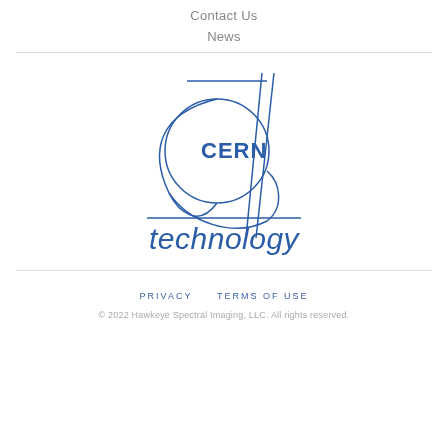Contact Us
News
[Figure (logo): CERN technology logo: CERN acronym inside a circle with orbiting lines, above a horizontal rule and the word 'technology' in italic blue sans-serif]
PRIVACY   TERMS OF USE
© 2022 Hawkeye Spectral Imaging, LLC. All rights reserved.